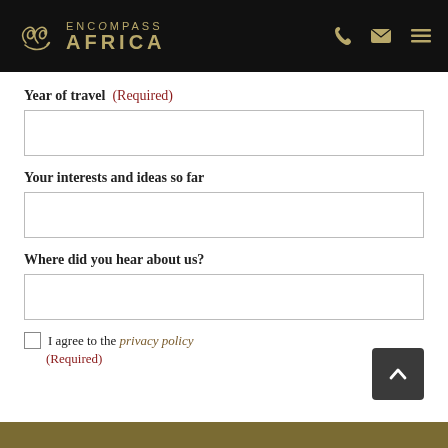ENCOMPASS AFRICA
Year of travel (Required)
Your interests and ideas so far
Where did you hear about us?
I agree to the privacy policy (Required)